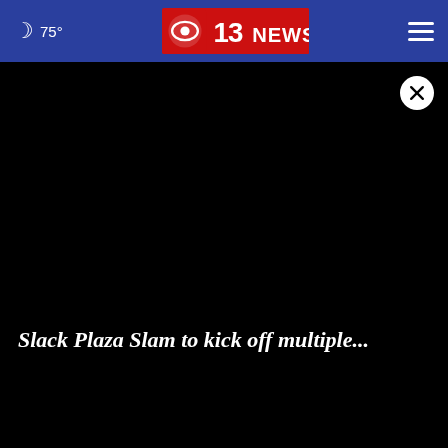🌙 75°  CBS 13 NEWS  ☰
[Figure (screenshot): Black video player area with a close (X) button in the top-right corner]
Slack Plaza Slam to kick off multiple...